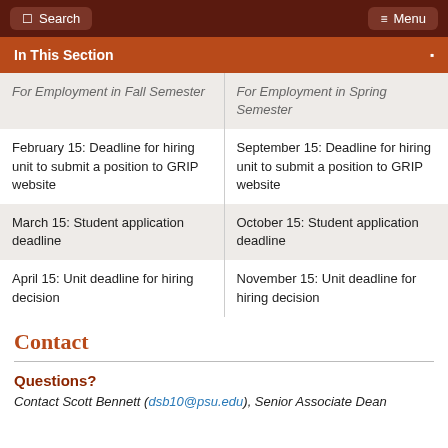Search  Menu
In This Section
| For Employment in Fall Semester | For Employment in Spring Semester |
| --- | --- |
| February 15: Deadline for hiring unit to submit a position to GRIP website | September 15: Deadline for hiring unit to submit a position to GRIP website |
| March 15: Student application deadline | October 15: Student application deadline |
| April 15: Unit deadline for hiring decision | November 15: Unit deadline for hiring decision |
Contact
Questions?
Contact Scott Bennett (dsb10@psu.edu), Senior Associate Dean